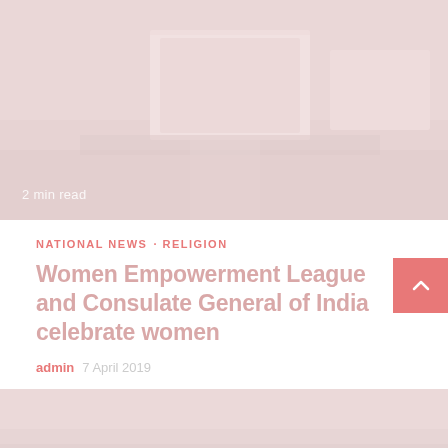[Figure (photo): A large indoor event or conference hall with audience and screens, faded/washed out appearance, with '2 min read' text overlay at bottom left]
2 min read
NATIONAL NEWS · RELIGION
Women Empowerment League and Consulate General of India celebrate women
admin   7 April 2019
[Figure (photo): A second faded/washed out photo showing people at an event, partially visible at the bottom of the page]